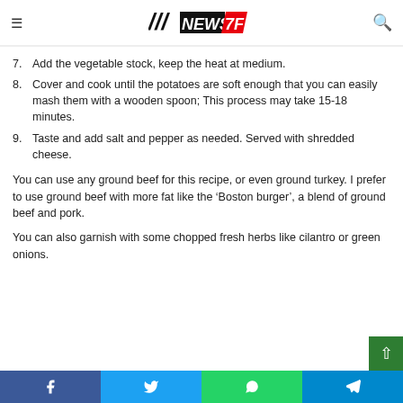NEWS 7F
7. Add the vegetable stock, keep the heat at medium.
8. Cover and cook until the potatoes are soft enough that you can easily mash them with a wooden spoon; This process may take 15-18 minutes.
9. Taste and add salt and pepper as needed. Served with shredded cheese.
You can use any ground beef for this recipe, or even ground turkey. I prefer to use ground beef with more fat like the ‘Boston burger’, a blend of ground beef and pork.
You can also garnish with some chopped fresh herbs like cilantro or green onions.
Facebook | Twitter | WhatsApp | Telegram